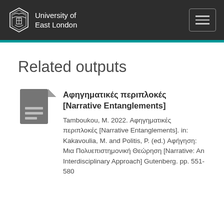University of East London
Related outputs
[Figure (illustration): Grey document icon with lines]
Αφηγηματικές περιπλοκές [Narrative Entanglements]
Tamboukou, M. 2022. Αφηγηματικές περιπλοκές [Narrative Entanglements]. in: Kakavoulia, M. and Politis, P. (ed.) Αφήγηση: Μια Πολυεπιστημονική Θεώρηση [Narrative: An Interdisciplinary Approach] Gutenberg. pp. 551-580